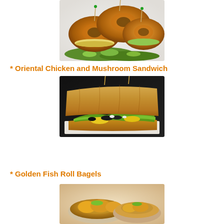[Figure (photo): Three golden bagel sandwiches with lettuce, cucumber, and egg filling, secured with toothpicks, on a white surface]
* Oriental Chicken and Mushroom Sandwich
[Figure (photo): A long baguette sandwich cut open, filled with mushrooms, yellow peppers, lettuce, and white sauce, on a dark background]
* Golden Fish Roll Bagels
[Figure (photo): Partial view of golden fish roll bagels]